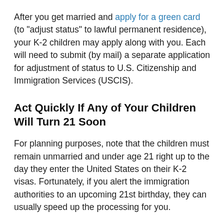After you get married and apply for a green card (to "adjust status" to lawful permanent residence), your K-2 children may apply along with you. Each will need to submit (by mail) a separate application for adjustment of status to U.S. Citizenship and Immigration Services (USCIS).
Act Quickly If Any of Your Children Will Turn 21 Soon
For planning purposes, note that the children must remain unmarried and under age 21 right up to the day they enter the United States on their K-2 visas. Fortunately, if you alert the immigration authorities to an upcoming 21st birthday, they can usually speed up the processing for you.